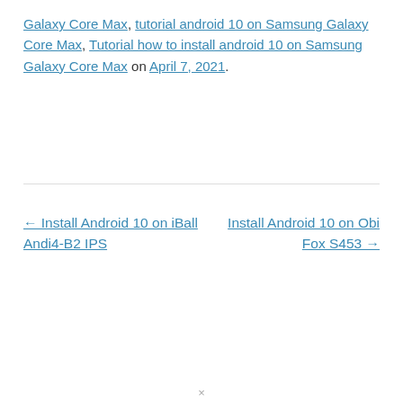Galaxy Core Max, tutorial android 10 on Samsung Galaxy Core Max, Tutorial how to install android 10 on Samsung Galaxy Core Max on April 7, 2021.
← Install Android 10 on iBall Andi4-B2 IPS
Install Android 10 on Obi Fox S453 →
×